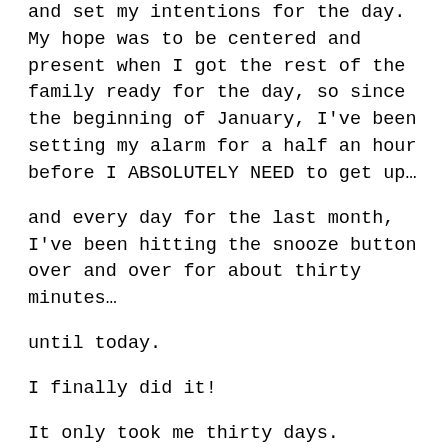and set my intentions for the day. My hope was to be centered and present when I got the rest of the family ready for the day, so since the beginning of January, I've been setting my alarm for a half an hour before I ABSOLUTELY NEED to get up…
and every day for the last month, I've been hitting the snooze button over and over for about thirty minutes…
until today.
I finally did it!
It only took me thirty days.
It may not seem like a big deal to some of you, but it's a big shift for me. I have no problem getting up super early because I have a meeting, or a plane to catch, or I have to get my kids somewhere… those are things that make it necessary to get out of bed at a certain time. It's been really difficult to also view caring for myself as a